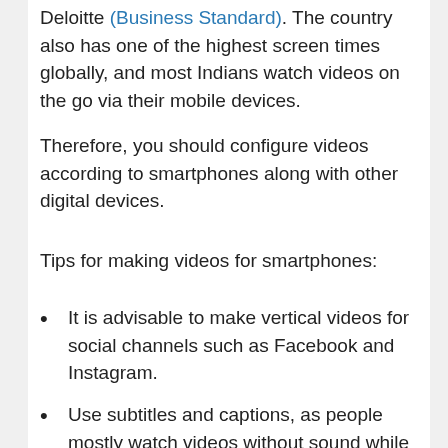Deloitte (Business Standard). The country also has one of the highest screen times globally, and most Indians watch videos on the go via their mobile devices.
Therefore, you should configure videos according to smartphones along with other digital devices.
Tips for making videos for smartphones:
It is advisable to make vertical videos for social channels such as Facebook and Instagram.
Use subtitles and captions, as people mostly watch videos without sound while traveling, working, or studying. It will help them to